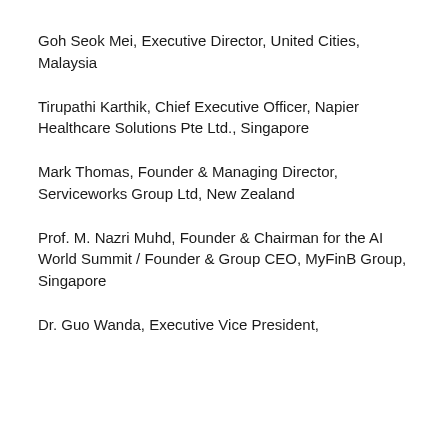Goh Seok Mei, Executive Director, United Cities, Malaysia
Tirupathi Karthik, Chief Executive Officer, Napier Healthcare Solutions Pte Ltd., Singapore
Mark Thomas, Founder & Managing Director, Serviceworks Group Ltd, New Zealand
Prof. M. Nazri Muhd, Founder & Chairman for the AI World Summit / Founder & Group CEO, MyFinB Group, Singapore
Dr. Guo Wanda, Executive Vice President,